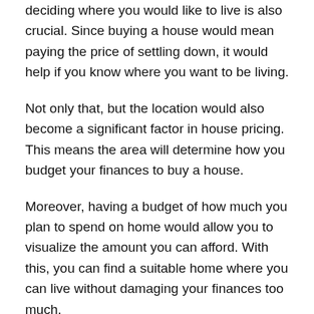deciding where you would like to live is also crucial. Since buying a house would mean paying the price of settling down, it would help if you know where you want to be living.
Not only that, but the location would also become a significant factor in house pricing. This means the area will determine how you budget your finances to buy a house.
Moreover, having a budget of how much you plan to spend on home would allow you to visualize the amount you can afford. With this, you can find a suitable home where you can live without damaging your finances too much.
Apply for Mortgage
A mortgage is a type of loan with an agreement where